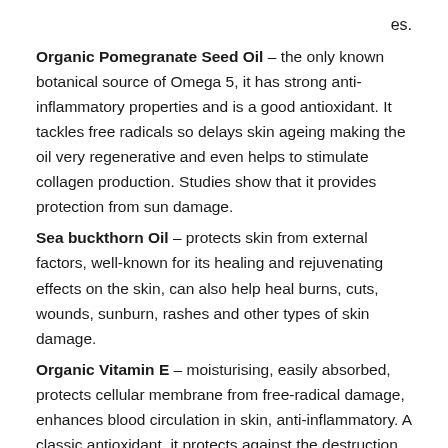es.
Organic Pomegranate Seed Oil – the only known botanical source of Omega 5, it has strong anti-inflammatory properties and is a good antioxidant. It tackles free radicals so delays skin ageing making the oil very regenerative and even helps to stimulate collagen production. Studies show that it provides protection from sun damage.
Sea buckthorn Oil – protects skin from external factors, well-known for its healing and rejuvenating effects on the skin, can also help heal burns, cuts, wounds, sunburn, rashes and other types of skin damage.
Organic Vitamin E – moisturising, easily absorbed, protects cellular membrane from free-radical damage, enhances blood circulation in skin, anti-inflammatory. A classic antioxidant, it protects against the destruction of the connective tissue caused by free radicals.